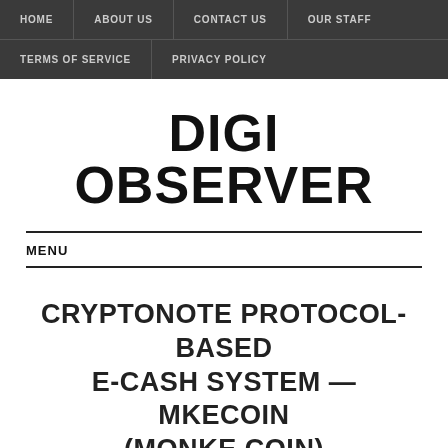HOME | ABOUT US | CONTACT US | OUR STAFF | TERMS OF SERVICE | PRIVACY POLICY
DIGI OBSERVER
MENU
CRYPTONOTE PROTOCOL-BASED E-CASH SYSTEM —MKECOIN (MONKE COIN)
NOVEMBER 12, 2020 / ALEX JACOB